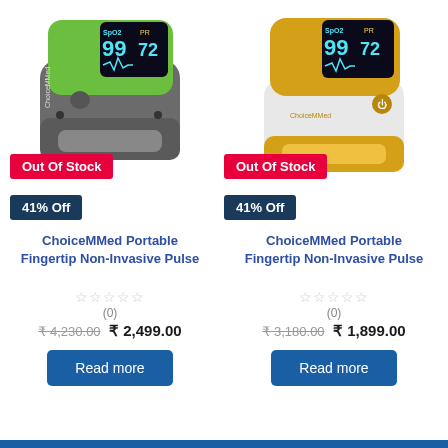[Figure (photo): ChoiceMMed green/gray pulse oximeter fingertip device with OLED display showing SpO2 99, PR 72]
Out Of Stock
41% Off
ChoiceMMed Portable Fingertip Non-Invasive Pulse
(0)
₹ 4,230.00 ₹ 2,499.00
Read more
[Figure (photo): ChoiceMMed yellow/white pulse oximeter fingertip device with OLED display showing SpO2 99, PR 72]
Out Of Stock
41% Off
ChoiceMMed Portable Fingertip Non-Invasive Pulse
(0)
₹ 3,180.00 ₹ 1,899.00
Read more